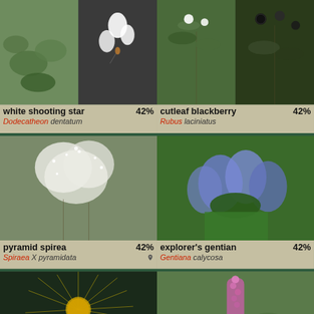[Figure (photo): Two photos side by side of white shooting star plant (Dodecatheon dentatum) — left shows green leaves, right shows white drooping flowers]
white shooting star 42% Dodecatheon dentatum
[Figure (photo): Two photos side by side of cutleaf blackberry (Rubus laciniatus) — left shows cut leaves with white flowers, right shows blackberries on plant]
cutleaf blackberry 42% Rubus laciniatus
[Figure (photo): Photo of pyramid spirea (Spiraea X pyramidata) showing white fluffy flower clusters]
pyramid spirea 42% Spiraea X pyramidata
[Figure (photo): Photo of explorer's gentian (Gentiana calycosa) showing blue flowers with green leaves]
explorer's gentian 42% Gentiana calycosa
[Figure (photo): Photo of yellow flower (close up, petals radiating outward)]
[Figure (photo): Photo of pink spike flower on shrub]